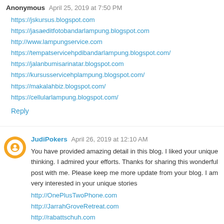Anonymous April 25, 2019 at 7:50 PM
https://jskursus.blogspot.com
https://jasaeditfotobandarlampung.blogspot.com
http://www.lampungservice.com
https://tempatservicehpdibandarlampung.blogspot.com/
https://jalanbumisarinatar.blogspot.com
https://kursusservicehplampung.blogspot.com/
https://makalahbiz.blogspot.com/
https://cellularlampung.blogspot.com/
Reply
JudiPokers April 26, 2019 at 12:10 AM
You have provided amazing detail in this blog. I liked your unique thinking. I admired your efforts. Thanks for sharing this wonderful post with me. Please keep me more update from your blog. I am very interested in your unique stories
http://OnePlusTwoPhone.com
http://JarrahGroveRetreat.com
http://rabattschuh.com
http://RosariesForLife.com